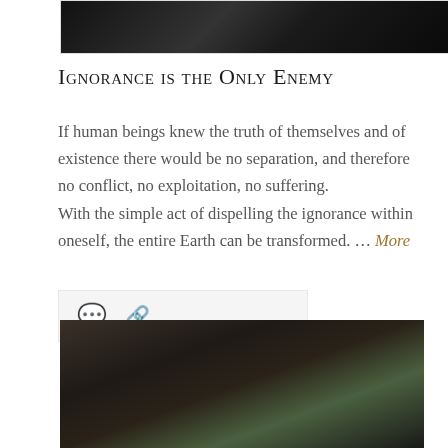[Figure (photo): Dark atmospheric photo, partially visible at top of page, black and dark tones]
Ignorance is the Only Enemy
If human beings knew the truth of themselves and of existence there would be no separation, and therefore no conflict, no exploitation, no suffering. With the simple act of dispelling the ignorance within oneself, the entire Earth can be transformed. … More
[Figure (other): Blog post action icons: comment bubble and share/link icon on light grey background]
[Figure (photo): Dark atmospheric photo at bottom of page, showing a figure in dark tones with blue-green light]